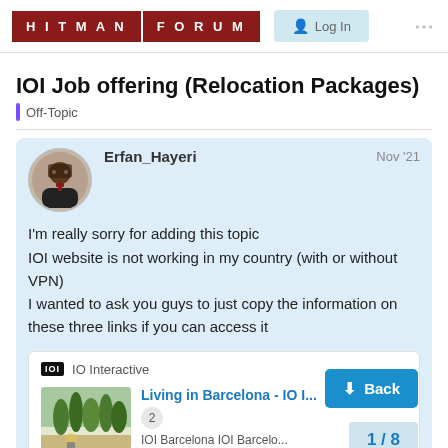HITMAN FORUM | Log In
IOI Job offering (Relocation Packages)
Off-Topic
Erfan_Hayeri  Nov '21
I'm really sorry for adding this topic
IOI website is not working in my country (with or without VPN)
I wanted to ask you guys to just copy the information on these three links if you can access it
IO Interactive
Living in Barcelona - IO I...
IOI Barcelona IOI Barcelo...
1 / 8